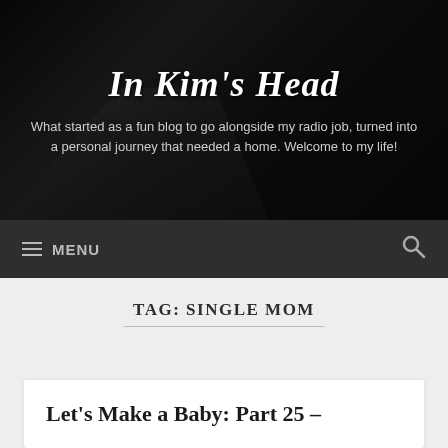In Kim's Head
What started as a fun blog to go alongside my radio job, turned into a personal journey that needed a home. Welcome to my life!
≡ MENU
TAG: SINGLE MOM
Let's Make a Baby: Part 25 –